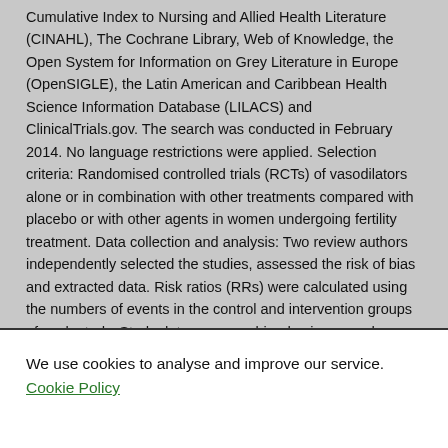Cumulative Index to Nursing and Allied Health Literature (CINAHL), The Cochrane Library, Web of Knowledge, the Open System for Information on Grey Literature in Europe (OpenSIGLE), the Latin American and Caribbean Health Science Information Database (LILACS) and ClinicalTrials.gov. The search was conducted in February 2014. No language restrictions were applied. Selection criteria: Randomised controlled trials (RCTs) of vasodilators alone or in combination with other treatments compared with placebo or with other agents in women undergoing fertility treatment. Data collection and analysis: Two review authors independently selected the studies, assessed the risk of bias and extracted data. Risk ratios (RRs) were calculated using the numbers of events in the control and intervention groups of each study. Study data were combined using a random-effects model, and evidence quality was assessed using Grades of Recommendation, Assessment, Development and Evaluation Working Group (GRADE) methods. Main results: Ten studies with a total of 797 women were included in this review.
We use cookies to analyse and improve our service. Cookie Policy